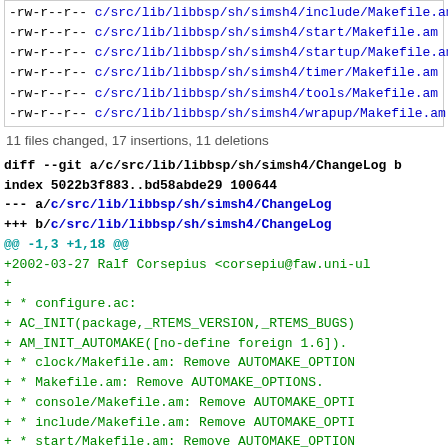-rw-r--r-- c/src/lib/libbsp/sh/simsh4/include/Makefile.am 1 |
-rw-r--r-- c/src/lib/libbsp/sh/simsh4/start/Makefile.am 1 |
-rw-r--r-- c/src/lib/libbsp/sh/simsh4/startup/Makefile.am 1 |
-rw-r--r-- c/src/lib/libbsp/sh/simsh4/timer/Makefile.am 1 |
-rw-r--r-- c/src/lib/libbsp/sh/simsh4/tools/Makefile.am 1 |
-rw-r--r-- c/src/lib/libbsp/sh/simsh4/wrapup/Makefile.am 1 |
11 files changed, 17 insertions, 11 deletions
diff --git a/c/src/lib/libbsp/sh/simsh4/ChangeLog b/
index 5022b3f883..bd58abde29 100644
--- a/c/src/lib/libbsp/sh/simsh4/ChangeLog
+++ b/c/src/lib/libbsp/sh/simsh4/ChangeLog
@@ -1,3 +1,18 @@
+2002-03-27      Ralf Corsepius <corsepiu@faw.uni-ul
+
+        * configure.ac:
+        AC_INIT(package,_RTEMS_VERSION,_RTEMS_BUGS)
+        AM_INIT_AUTOMAKE([no-define foreign 1.6]).
+        * clock/Makefile.am: Remove AUTOMAKE_OPTION
+        * Makefile.am: Remove AUTOMAKE_OPTIONS.
+        * console/Makefile.am: Remove AUTOMAKE_OPTI
+        * include/Makefile.am: Remove AUTOMAKE_OPTI
+        * start/Makefile.am: Remove AUTOMAKE_OPTION
+        * startup/Makefile.am: Remove AUTOMAKE_OPTI
+        * timer/Makefile.am: Remove AUTOMAKE_OPTION
+        * tools/Makefile.am: Remove AUTOMAKE_OPTION
+        * wrapup/Makefile.am: Remove AUTOMAKE_OPTIO
+
 2001-11-30      Ralf Corsepius <corsepiu@faw.uni-ul